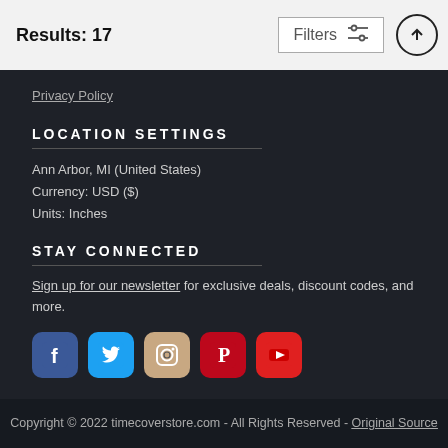Results: 17
Privacy Policy
LOCATION SETTINGS
Ann Arbor, MI (United States)
Currency: USD ($)
Units: Inches
STAY CONNECTED
Sign up for our newsletter for exclusive deals, discount codes, and more.
[Figure (infographic): Row of 5 social media icons: Facebook, Twitter, Instagram, Pinterest, YouTube]
Copyright © 2022 timecoverstore.com - All Rights Reserved - Original Source